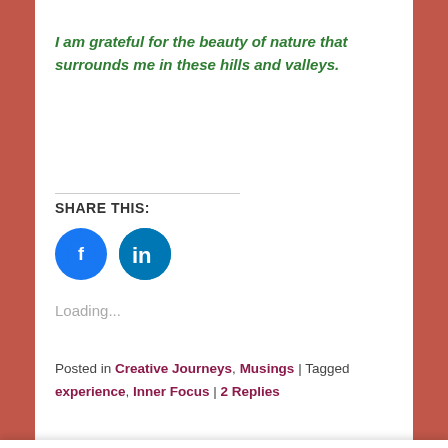I am grateful for the beauty of nature that surrounds me in these hills and valleys.
SHARE THIS:
[Figure (illustration): Facebook and LinkedIn social share icons (circles with logos)]
Loading...
Posted in Creative Journeys, Musings | Tagged experience, Inner Focus | 2 Replies
Privacy & Cookies: This site uses cookies. By continuing to use this website, you agree to their use.
To find out more, including how to control cookies, see here: Cookie Policy
Close and accept